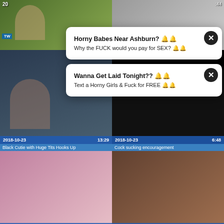[Figure (screenshot): Top-left video thumbnail with green outdoor background, timestamp 2018-10-23]
[Figure (screenshot): Top-right video thumbnail, dark/grey, duration :44]
[Figure (screenshot): Pop-up ad overlay: Horny Babes Near Ashburn? / Why the FUCK would you pay for SEX?]
[Figure (screenshot): Mid-left video thumbnail, dark blue tones, date 2018-10-23 duration 13:29]
[Figure (screenshot): Mid-right video thumbnail, near black, date 2018-10-23 duration 6:48]
[Figure (screenshot): Pop-up ad overlay: Wanna Get Laid Tonight?? / Text a Horny Girls & Fuck for FREE]
Black Cutie with Huge Tits Hooks Up
Cock sucking encouragement
[Figure (screenshot): Bottom-left video thumbnail, pink/mauve tones, date 2018-10-23 duration 19:51]
[Figure (screenshot): Bottom-right video thumbnail, warm brown tones, date 2018-10-23 duration 17:12]
LITTLE ORAL ANNIE - A LITTLE ORAL
Stefanny (Mummy Mia)